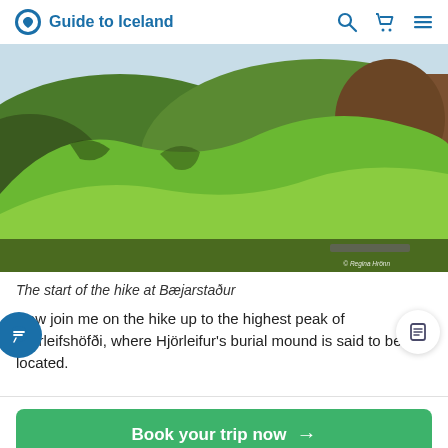Guide to Iceland
[Figure (photo): Green volcanic hills and mountains at Bæjarstaður, Iceland, under a pale blue sky. Lush green slopes with dark rocky outcroppings. Photo credit: © Regina Hrönn]
The start of the hike at Bæjarstaður
Now join me on the hike up to the highest peak of Hjörleifshöfði, where Hjörleifur's burial mound is said to be located.
Book your trip now